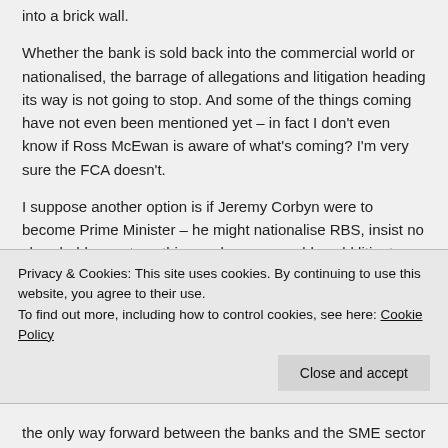into a brick wall.
Whether the bank is sold back into the commercial world or nationalised, the barrage of allegations and litigation heading its way is not going to stop. And some of the things coming have not even been mentioned yet – in fact I don't even know if Ross McEwan is aware of what's coming? I'm very sure the FCA doesn't.
I suppose another option is if Jeremy Corbyn were to become Prime Minister – he might nationalise RBS, insist no shareholders got anything and no one could could litigate against the bank? But I can't see that going down well with
Privacy & Cookies: This site uses cookies. By continuing to use this website, you agree to their use.
To find out more, including how to control cookies, see here: Cookie Policy
the only way forward between the banks and the SME sector